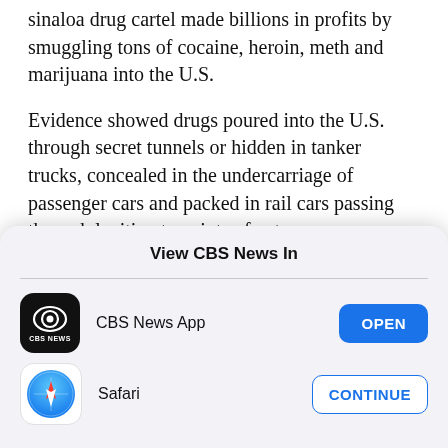sinaloa drug cartel made billions in profits by smuggling tons of cocaine, heroin, meth and marijuana into the U.S.
Evidence showed drugs poured into the U.S. through secret tunnels or hidden in tanker trucks, concealed in the undercarriage of passenger cars and packed in rail cars passing through legitimate points of entry.
The prosecution's case against Guzman, a roughly
View CBS News In
CBS News App
Safari